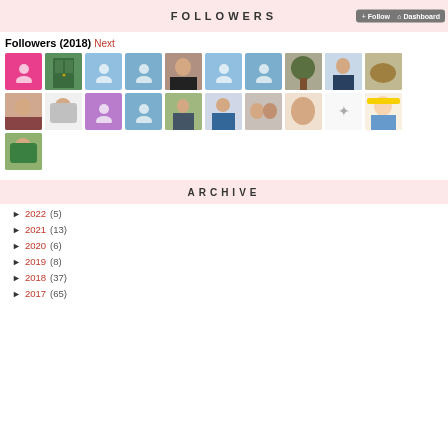FOLLOWERS
Followers (2018) Next
[Figure (photo): Grid of 21 follower avatar photos and placeholder icons]
ARCHIVE
► 2022 (5)
► 2021 (13)
► 2020 (6)
► 2019 (8)
► 2018 (37)
► 2017 (65)